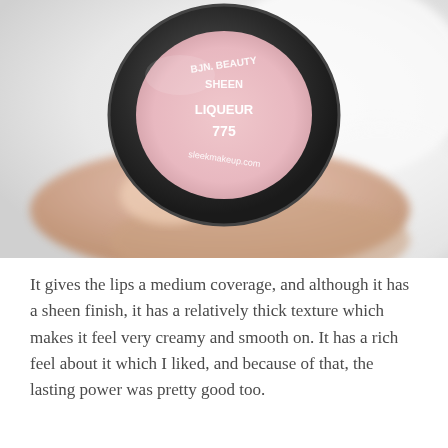[Figure (photo): Close-up photo of fingers holding a round black lipstick cap. The cap's bottom shows a pink label with white text reading: BJN. BEAUTY, SHEEN, LIQUEUR, 775, sleekmakeup.com]
It gives the lips a medium coverage, and although it has a sheen finish, it has a relatively thick texture which makes it feel very creamy and smooth on. It has a rich feel about it which I liked, and because of that, the lasting power was pretty good too.